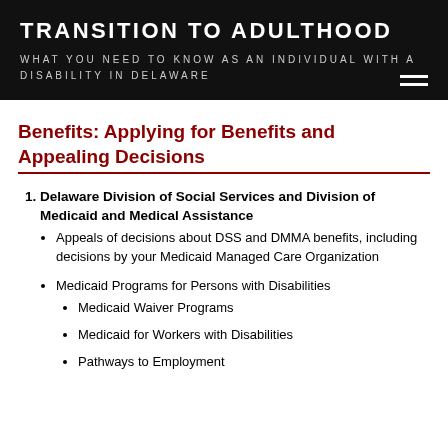TRANSITION TO ADULTHOOD
WHAT YOU NEED TO KNOW AS AN INDIVIDUAL WITH A DISABILITY IN DELAWARE
Benefits: Applying for Benefits and Appealing Decisions
1. Delaware Division of Social Services and Division of Medicaid and Medical Assistance
Appeals of decisions about DSS and DMMA benefits, including decisions by your Medicaid Managed Care Organization
Medicaid Programs for Persons with Disabilities
Medicaid Waiver Programs
Medicaid for Workers with Disabilities
Pathways to Employment